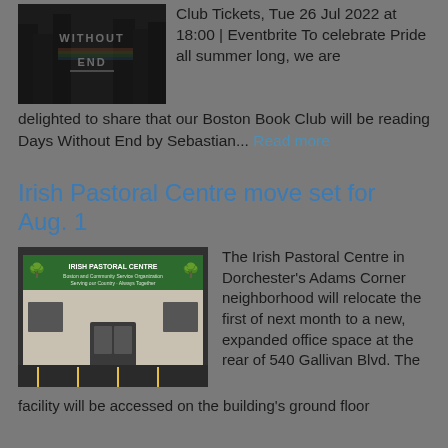[Figure (photo): Dark moody image with text 'WITHOUT END' overlaid in stylized letters]
Club Tickets, Tue 26 Jul 2022 at 18:00 | Eventbrite To celebrate Pride all summer long, we are delighted to share that our Boston Book Club will be reading Days Without End by Sebastian... Read more
Irish Pastoral Centre move set for Aug. 1
[Figure (photo): Exterior photo of Irish Pastoral Centre building showing green signage and entrance in Dorchester's Adams Corner neighborhood]
The Irish Pastoral Centre in Dorchester's Adams Corner neighborhood will relocate the first of next month to a new, expanded office space at the rear of 540 Gallivan Blvd. The facility will be accessed on the building's ground floor